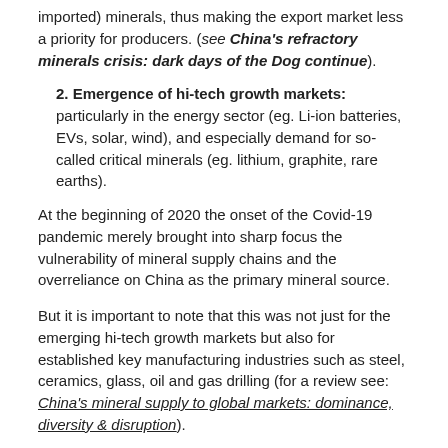imported) minerals, thus making the export market less a priority for producers. (see China's refractory minerals crisis: dark days of the Dog continue).
2. Emergence of hi-tech growth markets: particularly in the energy sector (eg. Li-ion batteries, EVs, solar, wind), and especially demand for so-called critical minerals (eg. lithium, graphite, rare earths).
At the beginning of 2020 the onset of the Covid-19 pandemic merely brought into sharp focus the vulnerability of mineral supply chains and the overreliance on China as the primary mineral source.
But it is important to note that this was not just for the emerging hi-tech growth markets but also for established key manufacturing industries such as steel, ceramics, glass, oil and gas drilling (for a review see: China's mineral supply to global markets: dominance, diversity & disruption).
So what has been the response so far? During the year, and just in the last few weeks, a range of actions and plans have